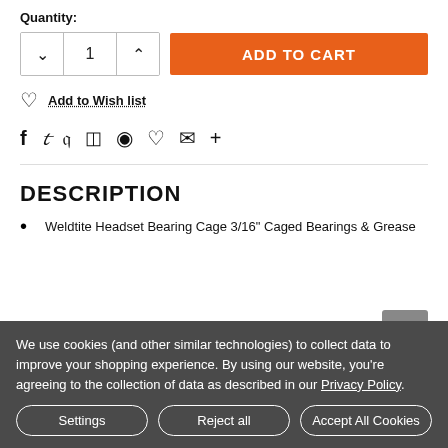Quantity:
1
ADD TO CART
Add to Wish list
[Figure (other): Social sharing icons: Facebook, Twitter, Pinterest, Grid/Apps, Pocket, Love/Heart, Email, Plus]
DESCRIPTION
Weldtite Headset Bearing Cage 3/16" Caged Bearings & Grease
We use cookies (and other similar technologies) to collect data to improve your shopping experience. By using our website, you're agreeing to the collection of data as described in our Privacy Policy.
Settings
Reject all
Accept All Cookies